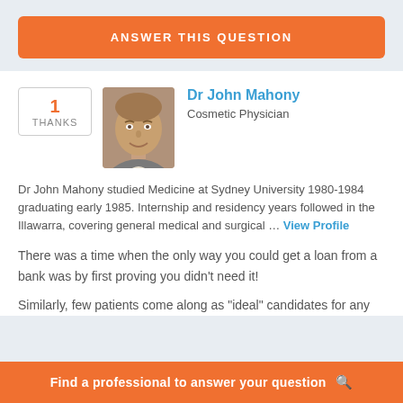ANSWER THIS QUESTION
Dr John Mahony
Cosmetic Physician
Dr John Mahony studied Medicine at Sydney University 1980-1984 graduating early 1985. Internship and residency years followed in the Illawarra, covering general medical and surgical … View Profile
There was a time when the only way you could get a loan from a bank was by first proving you didn't need it!
Similarly, few patients come along as “ideal” candidates for any
Find a professional to answer your question